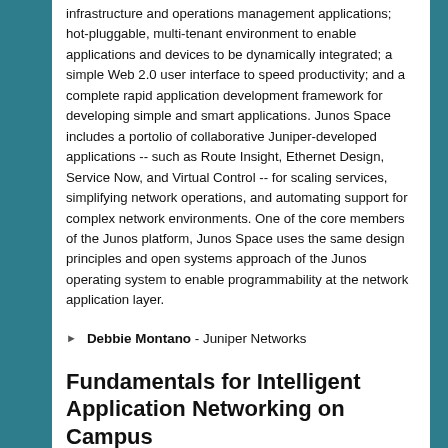infrastructure and operations management applications; hot-pluggable, multi-tenant environment to enable applications and devices to be dynamically integrated; a simple Web 2.0 user interface to speed productivity; and a complete rapid application development framework for developing simple and smart applications. Junos Space includes a portolio of collaborative Juniper-developed applications -- such as Route Insight, Ethernet Design, Service Now, and Virtual Control -- for scaling services, simplifying network operations, and automating support for complex network environments. One of the core members of the Junos platform, Junos Space uses the same design principles and open systems approach of the Junos operating system to enable programmability at the network application layer.
Debbie Montano - Juniper Networks
Fundamentals for Intelligent Application Networking on Campus
Networks are evolving from "just pipes" to being instrumental in the delivery of content and information for research, communications, and business applications. They must play a role in managing different classes of users (researchers, administration, students), prioritizing traffic types effectively to